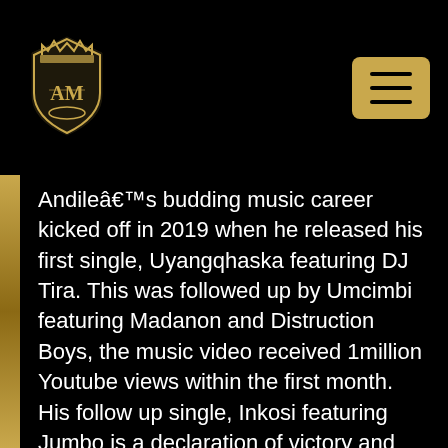AM logo and navigation menu
Andileâ€™s budding music career kicked off in 2019 when he released his first single, Uyangqhaska featuring DJ Tira. This was followed up by Umcimbi featuring Madanon and Distruction Boys, the music video received 1million Youtube views within the first month. His follow up single, Inkosi featuring Jumbo is a declaration of victory and giving thanks to the most high. 2020 also saw Andile being nominated in the category Best New Independent African Artists and Best New Male Independent African Music Video in the 4th Annual HAPAwards. In 2021 Andile released another single titled Too Much Sauce and was also awarded for the best music video at the 2021 Eminent Video Music Awards. In 2022 he got the opportunity to be the opening act for the Legendz of the Streetz Tour